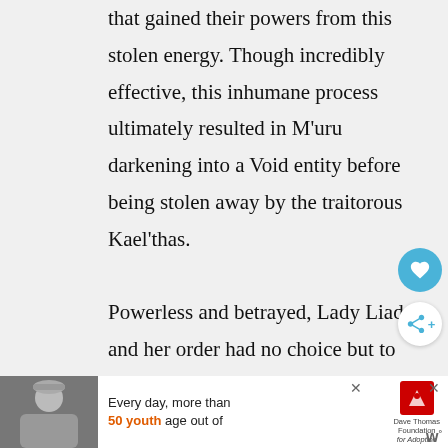that gained their powers from this stolen energy. Though incredibly effective, this inhumane process ultimately resulted in M'uru darkening into a Void entity before being stolen away by the traitorous Kael'thas.

Powerless and betrayed, Lady Liadrin and her order had no choice but to beg the naaru A'dal for forgiveness. A'dal revealed that this turn of events merely played into a prophecy at work — one that would redeem the Blood Elves.

Surprised and grateful for forgiveness, Lady
[Figure (other): Advertisement banner at the bottom of the page. Shows a person wearing a beanie hat on the left, text reading 'Every day, more than 50 youth age out of' with Dave Thomas Foundation for Adoption logo.]